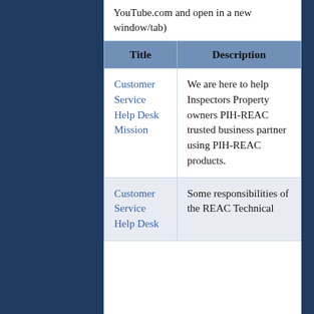YouTube.com and open in a new window/tab)
| Title | Description |
| --- | --- |
| Customer Service Help Desk Mission | We are here to help Inspectors Property owners PIH-REAC trusted business partner using PIH-REAC products. |
| Customer Service Help Desk | Some responsibilities of the REAC Technical |